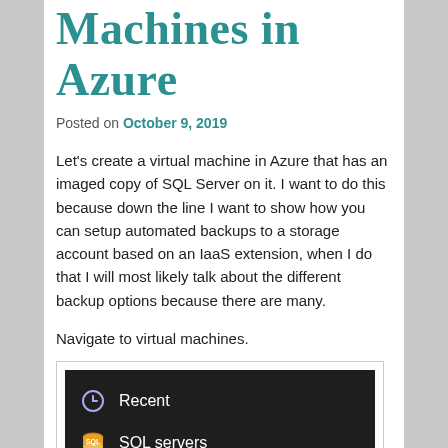Machines in Azure
Posted on October 9, 2019
Let's create a virtual machine in Azure that has an imaged copy of SQL Server on it. I want to do this because down the line I want to show how you can setup automated backups to a storage account based on an IaaS extension, when I do that I will most likely talk about the different backup options because there are many.
Navigate to virtual machines.
[Figure (screenshot): Azure portal sidebar menu showing: Recent, SQL servers, App Services]